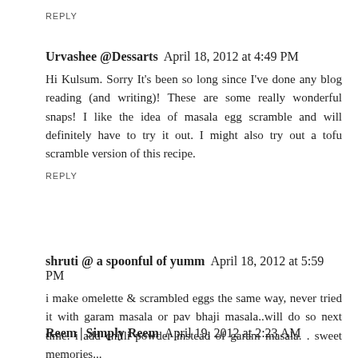REPLY
Urvashee @Dessarts  April 18, 2012 at 4:49 PM
Hi Kulsum. Sorry It's been so long since I've done any blog reading (and writing)! These are some really wonderful snaps! I like the idea of masala egg scramble and will definitely have to try it out. I might also try out a tofu scramble version of this recipe.
REPLY
shruti @ a spoonful of yumm  April 18, 2012 at 5:59 PM
i make omelette & scrambled eggs the same way, never tried it with garam masala or pav bhaji masala..will do so next time. i add chilli powder instead of garam masala. . sweet memories...
REPLY
Reem | Simply Reem  April 19, 2012 at 2:23 AM